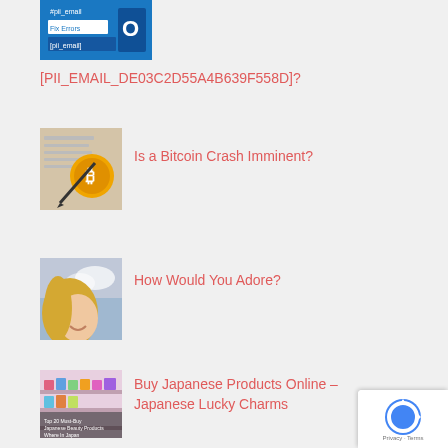[Figure (screenshot): Blue Outlook-style thumbnail with text 'Fix Errors [pii_email]']
[PII_EMAIL_DE03C2D55A4B639F558D]?
[Figure (photo): Bitcoin coins on financial documents with a pen]
Is a Bitcoin Crash Imminent?
[Figure (photo): Smiling woman with blonde hair against sky background]
How Would You Adore?
[Figure (screenshot): Japanese store/shop with products and text about Japanese beauty products]
Buy Japanese Products Online – Japanese Lucky Charms
[Figure (logo): Google reCAPTCHA badge with Privacy and Terms links]